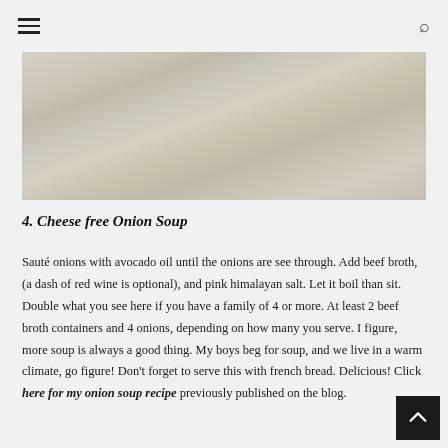[Figure (photo): Close-up photo of a light-colored surface, possibly marble or cream-colored stone texture, slightly blurred.]
4. Cheese free Onion Soup
Sauté onions with avocado oil until the onions are see through. Add beef broth, (a dash of red wine is optional), and pink himalayan salt. Let it boil than sit. Double what you see here if you have a family of 4 or more. At least 2 beef broth containers and 4 onions, depending on how many you serve. I figure, more soup is always a good thing. My boys beg for soup, and we live in a warm climate, go figure! Don't forget to serve this with french bread. Delicious! Click here for my onion soup recipe previously published on the blog.